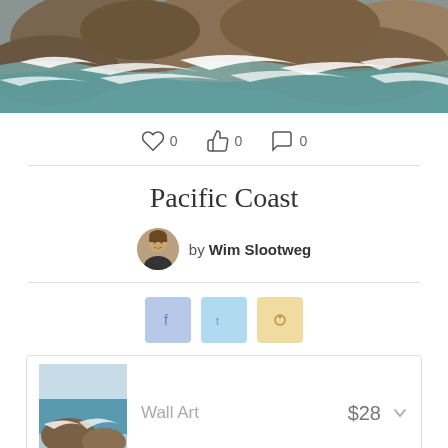[Figure (photo): Ocean waves crashing against rocky coastline, viewed from above. Turbulent white foam and dark teal water visible.]
0  0  0
Pacific Coast
by Wim Slootweg
[Figure (infographic): Social share buttons: Facebook (blue), Twitter (light blue), Pinterest (yellow/gold)]
Wall Art  $28